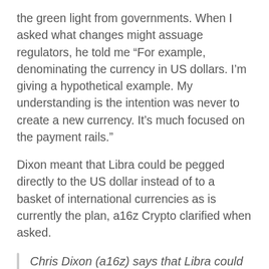the green light from governments. When I asked what changes might assuage regulators, he told me “For example, denominating the currency in US dollars. I’m giving a hypothetical example. My understanding is the intention was never to create a new currency. It’s much focused on the payment rails.”
Dixon meant that Libra could be pegged directly to the US dollar instead of to a basket of international currencies as is currently the plan, a16z Crypto clarified when asked.
Chris Dixon (a16z) says that Libra could be denominated in USD to soothe regulators #TCDisrupt